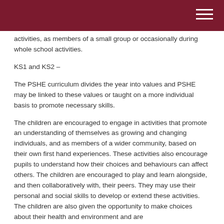activities, as members of a small group or occasionally during whole school activities.
KS1 and KS2 –
The PSHE curriculum divides the year into values and PSHE may be linked to these values or taught on a more individual basis to promote necessary skills.
The children are encouraged to engage in activities that promote an understanding of themselves as growing and changing individuals, and as members of a wider community, based on their own first hand experiences. These activities also encourage pupils to understand how their choices and behaviours can affect others. The children are encouraged to play and learn alongside, and then collaboratively with, their peers. They may use their personal and social skills to develop or extend these activities. The children are also given the opportunity to make choices about their health and environment and are